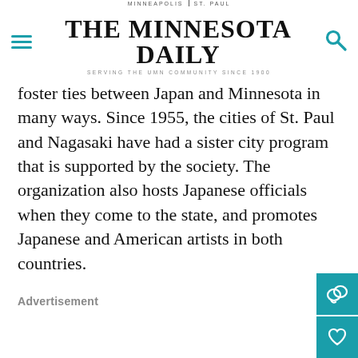MINNEAPOLIS | ST. PAUL — THE MINNESOTA DAILY — SERVING THE UMN COMMUNITY SINCE 1900
foster ties between Japan and Minnesota in many ways. Since 1955, the cities of St. Paul and Nagasaki have had a sister city program that is supported by the society. The organization also hosts Japanese officials when they come to the state, and promotes Japanese and American artists in both countries.
Advertisement